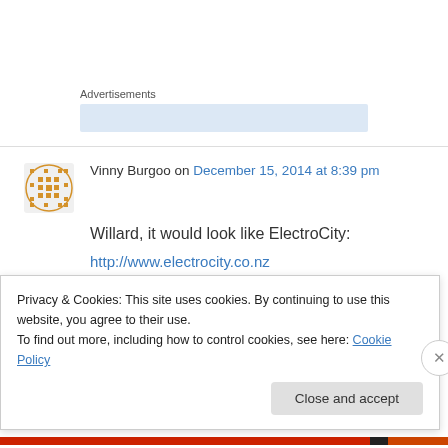Advertisements
Vinny Burgoo on December 15, 2014 at 8:39 pm
Willard, it would look like ElectroCity:
http://www.electrocity.co.nz
A simple game that, IIRC, takes about an hour to
Privacy & Cookies: This site uses cookies. By continuing to use this website, you agree to their use.
To find out more, including how to control cookies, see here: Cookie Policy
Close and accept